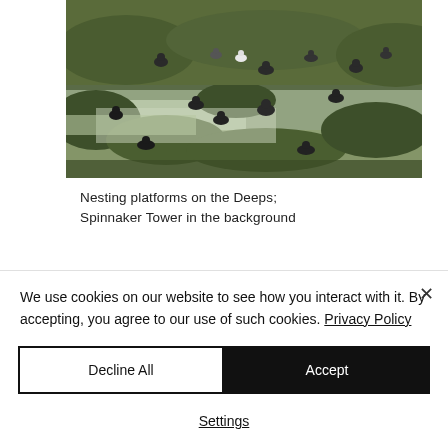[Figure (photo): Birds (geese/ducks) resting on grassy wetland terrain with a water channel running through. Multiple dark-feathered birds scattered across green mossy ground.]
Nesting platforms on the Deeps;
Spinnaker Tower in the background
We use cookies on our website to see how you interact with it. By accepting, you agree to our use of such cookies. Privacy Policy
Decline All
Accept
Settings